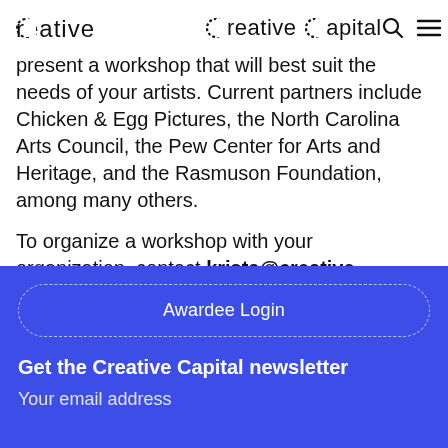Creative Capital
present a workshop that will best suit the needs of your artists. Current partners include Chicken & Egg Pictures, the North Carolina Arts Council, the Pew Center for Arts and Heritage, and the Rasmuson Foundation, among many others.
To organize a workshop with your organization, contact krista@creative-capital.org
Awardee Login
Get the Creative Capital newsletter
Your email address